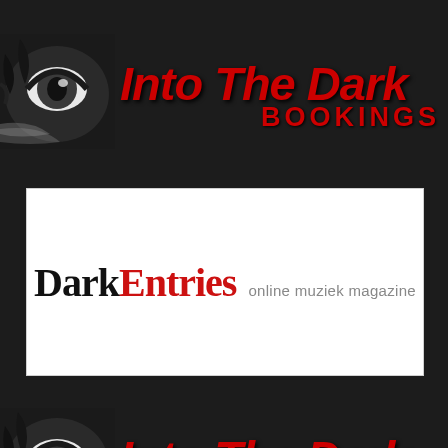[Figure (logo): Top section: dark background with stylized owl/eye illustration on the left and 'Into The Dark Bookings' text in red italic on the right]
[Figure (logo): White rectangle containing the DarkEntries online muziek magazine logo — 'Dark' in black old-English font, 'Entries' in red old-English font, followed by 'online muziek magazine' in gray sans-serif]
[Figure (logo): Bottom section: dark background with stylized owl/eye illustration on the left and 'Into The Dark Bookings' text in red italic on the right]